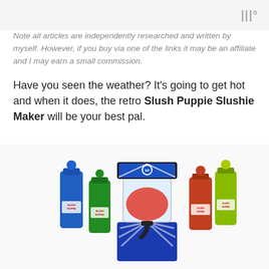|||°
Note all articles are independently researched and written by myself. However, if you buy via one of the links it may be an affiliate and I may earn a small commission.
Have you seen the weather? It's going to get hot and when it does, the retro Slush Puppie Slushie Maker will be your best pal.
[Figure (photo): Slush Puppie Slushie Maker machine with bottles of Slush Puppie syrup in blue, green, red, and lime flavors arranged around it. The machine has a blue and white starburst design and the Slush Puppie branding.]